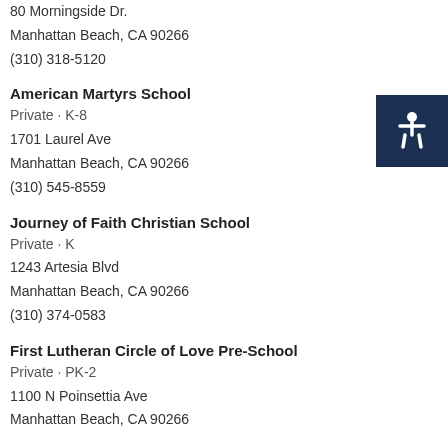80 Morningside Dr.
Manhattan Beach, CA 90266
(310) 318-5120
American Martyrs School
Private · K-8
1701 Laurel Ave
Manhattan Beach, CA 90266
(310) 545-8559
Journey of Faith Christian School
Private · K
1243 Artesia Blvd
Manhattan Beach, CA 90266
(310) 374-0583
First Lutheran Circle of Love Pre-School
Private · PK-2
1100 N Poinsettia Ave
Manhattan Beach, CA 90266